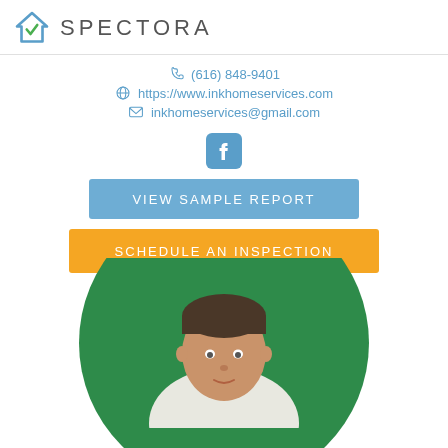SPECTORA
(616) 848-9401
https://www.inkhomeservices.com
inkhomeservices@gmail.com
[Figure (logo): Facebook logo icon]
VIEW SAMPLE REPORT
SCHEDULE AN INSPECTION
[Figure (photo): Portrait of a man in front of a green circular background]